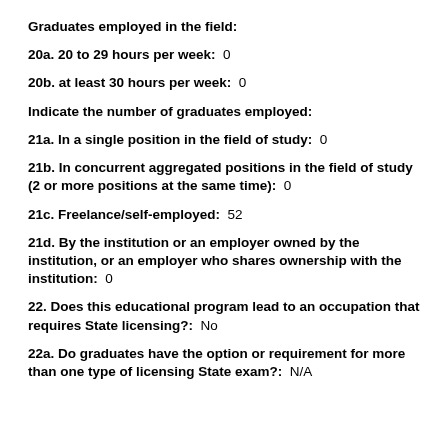Graduates employed in the field:
20a. 20 to 29 hours per week:  0
20b. at least 30 hours per week:  0
Indicate the number of graduates employed:
21a. In a single position in the field of study:  0
21b. In concurrent aggregated positions in the field of study (2 or more positions at the same time):  0
21c. Freelance/self-employed:  52
21d. By the institution or an employer owned by the institution, or an employer who shares ownership with the institution:  0
22. Does this educational program lead to an occupation that requires State licensing?:  No
22a. Do graduates have the option or requirement for more than one type of licensing State exam?:  N/A